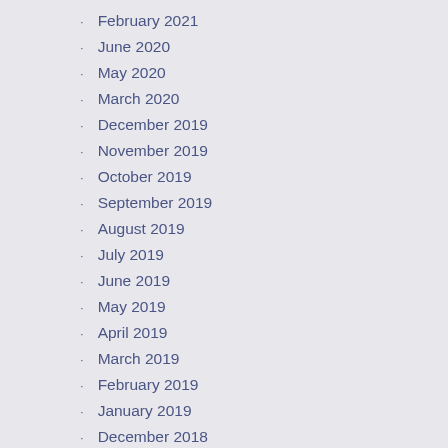February 2021
June 2020
May 2020
March 2020
December 2019
November 2019
October 2019
September 2019
August 2019
July 2019
June 2019
May 2019
April 2019
March 2019
February 2019
January 2019
December 2018
November 2018